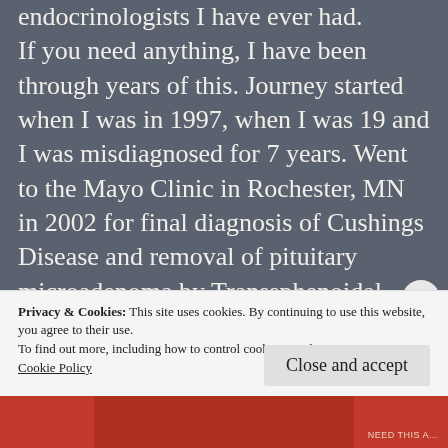endocrinologists I have ever had. If you need anything, I have been through years of this. Journey started when I was in 1997, when I was 19 and I was misdiagnosed for 7 years. Went to the Mayo Clinic in Rochester, MN in 2002 for final diagnosis of Cushings Disease and removal of pituitary microadenoma by Transsphenoidal surgery in 2003 and last year (2017) by craniotomy. Need anything, I'm here. Have any questions? Ask away. I love talking to all
Privacy & Cookies: This site uses cookies. By continuing to use this website, you agree to their use.
To find out more, including how to control cookies, see here:
Cookie Policy
Close and accept